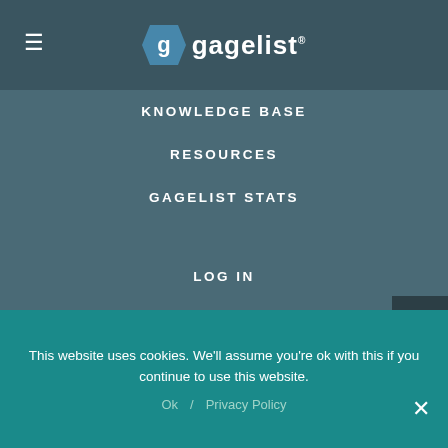[Figure (logo): Gagelist logo with stylized G icon and text 'gagelist' with registered trademark symbol]
KNOWLEDGE BASE
RESOURCES
GAGELIST STATS
LOG IN
SIGN UP
PRIVACY
TERMS OF USE
COOKIE POLICY
This website uses cookies. We'll assume you're ok with this if you continue to use this website.
Ok   Privacy Policy